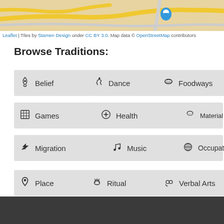[Figure (map): Partial map view showing roads and terrain with a location marker pin visible at upper right]
Leaflet | Tiles by Stamen Design under CC BY 3.0. Map data © OpenStreetMap contributors
Browse Traditions:
Belief
Dance
Foodways
Games
Health
Material Culture
Migration
Music
Occupation
Place
Ritual
Verbal Arts